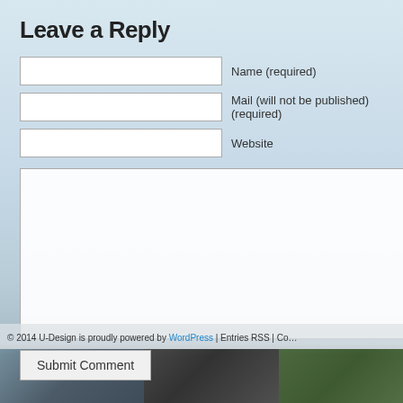Leave a Reply
Name (required)
Mail (will not be published) (required)
Website
Submit Comment
© 2014 U-Design is proudly powered by WordPress | Entries RSS | Co…